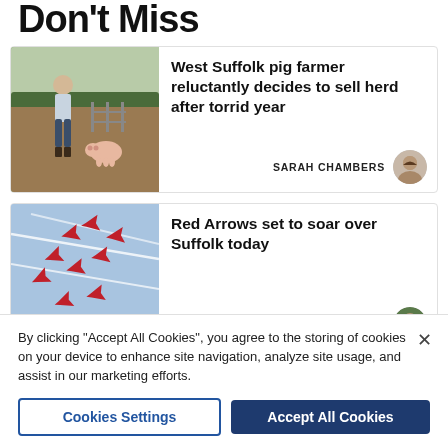Don't Miss
[Figure (photo): A pig farmer standing in a field with a pig, outdoor farm scene with trees in background]
West Suffolk pig farmer reluctantly decides to sell herd after torrid year
SARAH CHAMBERS
[Figure (photo): Red Arrows jets in formation flying against a blue sky with white contrails]
Red Arrows set to soar over Suffolk today
TOM SWINDLES
By clicking "Accept All Cookies", you agree to the storing of cookies on your device to enhance site navigation, analyze site usage, and assist in our marketing efforts.